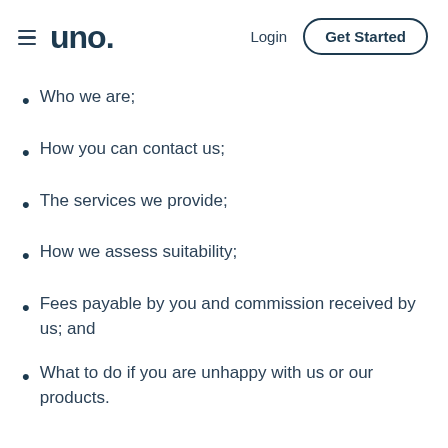uno. | Login | Get Started
Who we are;
How you can contact us;
The services we provide;
How we assess suitability;
Fees payable by you and commission received by us; and
What to do if you are unhappy with us or our products.